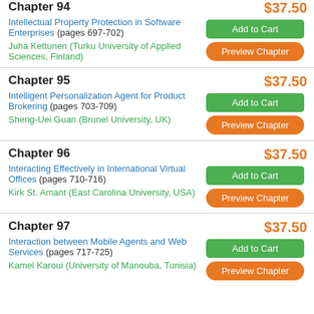Chapter 94
Intellectual Property Protection in Software Enterprises (pages 697-702)
Juha Kettunen (Turku University of Applied Sciences, Finland)
Chapter 95
Intelligent Personalization Agent for Product Brokering (pages 703-709)
Sheng-Uei Guan (Brunel University, UK)
Chapter 96
Interacting Effectively in International Virtual Offices (pages 710-716)
Kirk St. Amant (East Carolina University, USA)
Chapter 97
Interaction between Mobile Agents and Web Services (pages 717-725)
Kamel Karoui (University of Manouba, Tunisia)